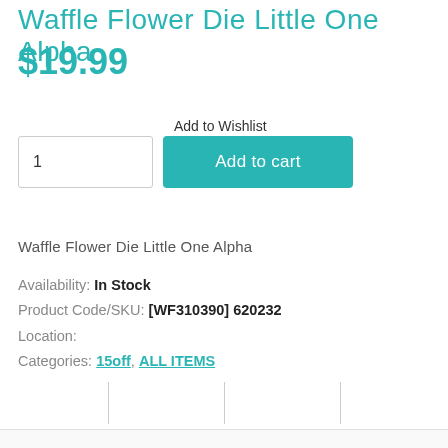Waffle Flower Die Little One Alpha
$19.99
Add to Wishlist
1
Add to cart
Waffle Flower Die Little One Alpha
Availability: In Stock
Product Code/SKU: [WF310390] 620232
Location:
Categories: 15off, ALL ITEMS